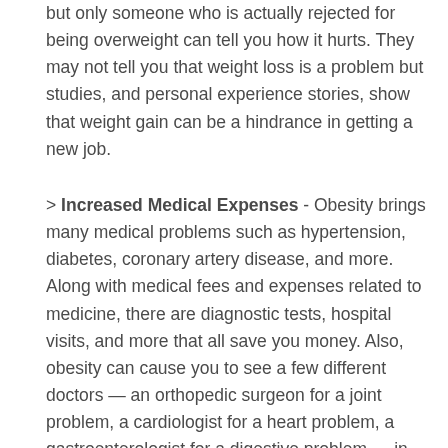but only someone who is actually rejected for being overweight can tell you how it hurts. They may not tell you that weight loss is a problem but studies, and personal experience stories, show that weight gain can be a hindrance in getting a new job.
> Increased Medical Expenses - Obesity brings many medical problems such as hypertension, diabetes, coronary artery disease, and more. Along with medical fees and expenses related to medicine, there are diagnostic tests, hospital visits, and more that all save you money. Also, obesity can cause you to see a few different doctors — an orthopedic surgeon for a joint problem, a cardiologist for a heart problem, a gastroenterologist for a digestive problem — in addition to your dietitian. Also, obesity can cause you to see a few different doctors — an orthopedic surgeon for a joint problem, a